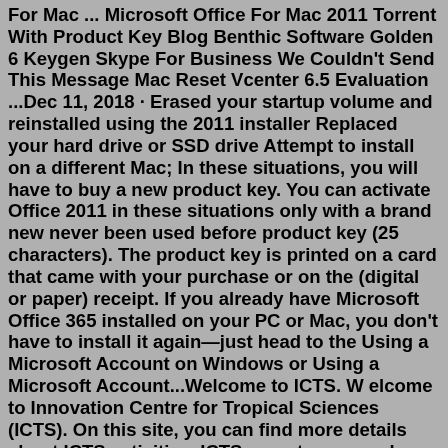For Mac ... Microsoft Office For Mac 2011 Torrent With Product Key Blog Benthic Software Golden 6 Keygen Skype For Business We Couldn't Send This Message Mac Reset Vcenter 6.5 Evaluation ...Dec 11, 2018 · Erased your startup volume and reinstalled using the 2011 installer Replaced your hard drive or SSD drive Attempt to install on a different Mac; In these situations, you will have to buy a new product key. You can activate Office 2011 in these situations only with a brand new never been used before product key (25 characters). The product key is printed on a card that came with your purchase or on the (digital or paper) receipt. If you already have Microsoft Office 365 installed on your PC or Mac, you don't have to install it again—just head to the Using a Microsoft Account on Windows or Using a Microsoft Account...Welcome to ICTS. W elcome to Innovation Centre for Tropical Sciences (ICTS). On this site, you can find more details about ICTS activities, ICTS experts, research programs, discussion forums, activity plans, community actions.